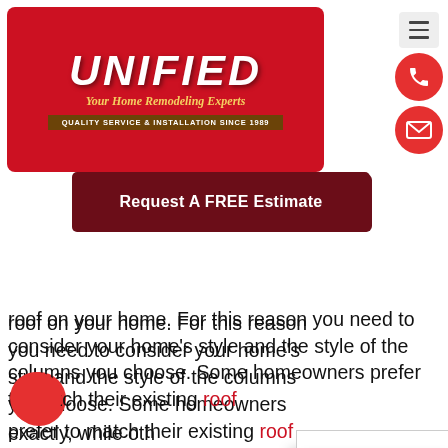[Figure (logo): Unified Home Remodeling Experts logo — red background with white bold italic UNIFIED text, gold tagline 'Your Home Remodeling Experts', brown banner 'Quality Service & Installation Since 1989']
[Figure (other): Navigation icons: hamburger menu button, red phone button, red email button]
[Figure (other): Dark red CTA button reading 'Request A FREE Estimate']
roof on your home. For this reason you need to consider your home's style and the style of the columns you choose. Some homeowners prefer to match their existing roof exactly, while oth... your current roo...
There are severa...
Round Port...
A round portico ... igned with a m... columns. The columns can be any shape you like but typically
[Figure (other): Cookie consent popup: text 'We use cookies on our website to give you the most relevant experience by remembering your preferences and repeat visits. By clicking "Accept", you consent to the use of ALL the cookies.' Link: 'Do not sell my personal information.' Buttons: 'Cookie Settings' (gray) and 'Accept' (green)]
[Figure (other): Accessibility icon — dark rounded rectangle with stick figure, positioned left edge]
[Figure (other): Red circle bottom left corner]